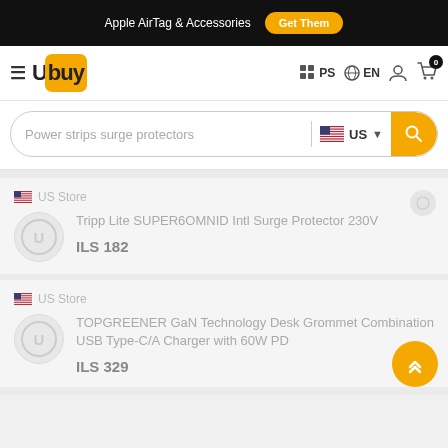Apple AirTag & Accessories  Get Them
[Figure (logo): Ubuy logo with orange background on 'buy' portion, hamburger menu icon on left, navigation icons PS, EN, user, cart with 0 badge on right]
Power strips surge protectors  US
US Store
Tripp Lite SUPER6OMNID Intl Surge Protector 230V
ILS 182
US Store
TOPGREENER GaN Technology Desk Grommet Combination USB Type-C/A Charger with 60W PD
ILS 329